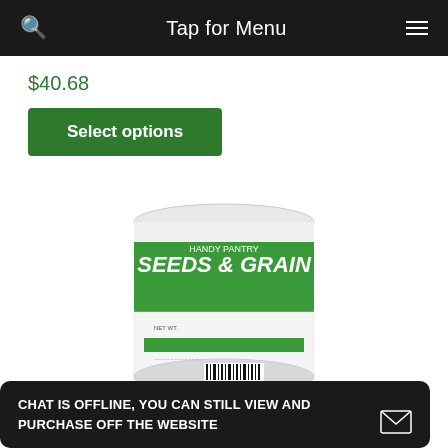Tap for Menu
$40.68
Select options
[Figure (photo): A cylindrical tin can with a green and white label reading 'SEEDS & GRAIN' with a barcode at the bottom. There are seeds visible beneath the can.]
CHAT IS OFFLINE, YOU CAN STILL VIEW AND PURCHASE OFF THE WEBSITE